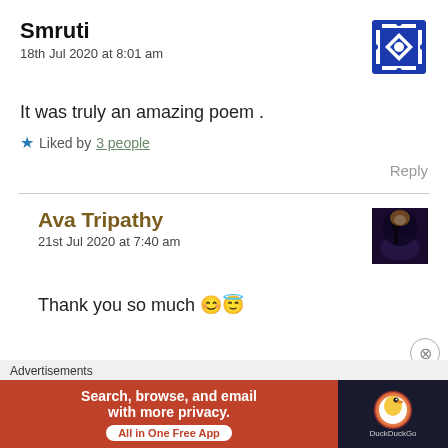Smruti
18th Jul 2020 at 8:01 am
It was truly an amazing poem .
★ Liked by 3 people
Reply
Ava Tripathy
21st Jul 2020 at 7:40 am
Thank you so much 😊😇
Advertisements
Search, browse, and email with more privacy. All in One Free App